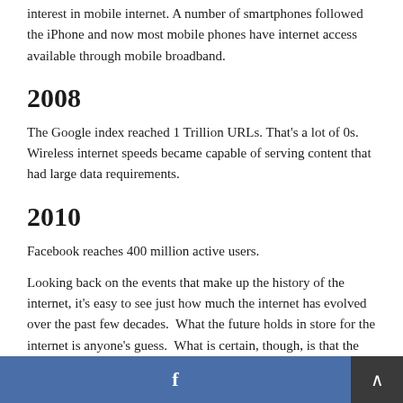interest in mobile internet. A number of smartphones followed the iPhone and now most mobile phones have internet access available through mobile broadband.
2008
The Google index reached 1 Trillion URLs. That's a lot of 0s. Wireless internet speeds became capable of serving content that had large data requirements.
2010
Facebook reaches 400 million active users.
Looking back on the events that make up the history of the internet, it's easy to see just how much the internet has evolved over the past few decades.  What the future holds in store for the internet is anyone's guess.  What is certain, though, is that the internet will keep evolving.
f ∧